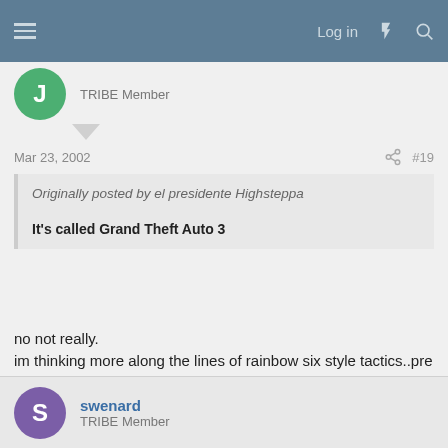Log in
TRIBE Member
Mar 23, 2002  #19
Originally posted by el presidente Highsteppa

It's called Grand Theft Auto 3
no not really.
im thinking more along the lines of rainbow six style tactics..pre planning the hold up etc...not just driving around..going to a certain location, then pressing a button or killing one guy to complete the mission
swenard
TRIBE Member